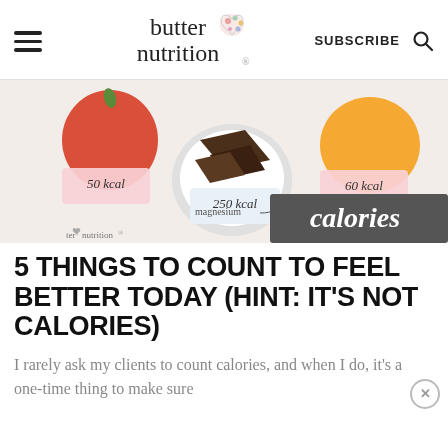butter nutrition — SUBSCRIBE
[Figure (photo): Food photo showing an apple (50 kcal), plate of dark chocolate pieces (250 kcal), and an orange (60 kcal) with calorie labels, 'magnesium' annotation, and 'calories' text overlay. Watermark: ter nutrition.]
5 THINGS TO COUNT TO FEEL BETTER TODAY (HINT: IT'S NOT CALORIES)
I rarely ask my clients to count calories, and when I do, it's a one-time thing to make sure